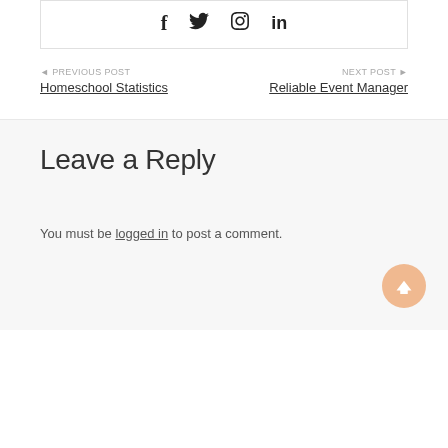[Figure (other): Social share icons: Facebook (f), Twitter (bird), Pinterest (p), LinkedIn (in)]
◄ PREVIOUS POST
Homeschool Statistics
NEXT POST ►
Reliable Event Manager
Leave a Reply
You must be logged in to post a comment.